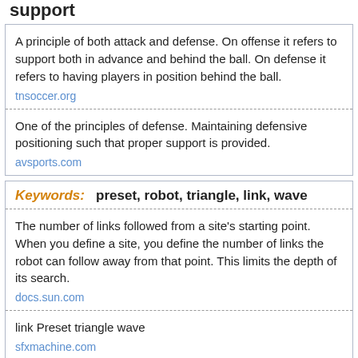support
A principle of both attack and defense. On offense it refers to support both in advance and behind the ball. On defense it refers to having players in position behind the ball.
tnsoccer.org
One of the principles of defense. Maintaining defensive positioning such that proper support is provided.
avsports.com
Keywords: preset, robot, triangle, link, wave
The number of links followed from a site's starting point. When you define a site, you define the number of links the robot can follow away from that point. This limits the depth of its search.
docs.sun.com
link Preset triangle wave
sfxmachine.com
Keywords: